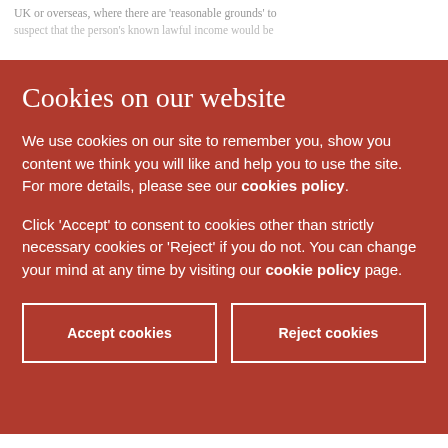UK or overseas, where there are 'reasonable grounds' to suspect that the person's known lawful income would be insufficient to buy the relevant property, and where that person is a politically exposed person (PEP). In some circumstances, the relevant authority may be allowed to use the results of the unexplained wealth order investigation during any other criminal or civil proceedings that may take place during the relevant property period.
Cookies on our website
We use cookies on our site to remember you, show you content we think you will like and help you to use the site. For more details, please see our cookies policy.
Click 'Accept' to consent to cookies other than strictly necessary cookies or 'Reject' if you do not. You can change your mind at any time by visiting our cookie policy page.
Accept cookies
Reject cookies